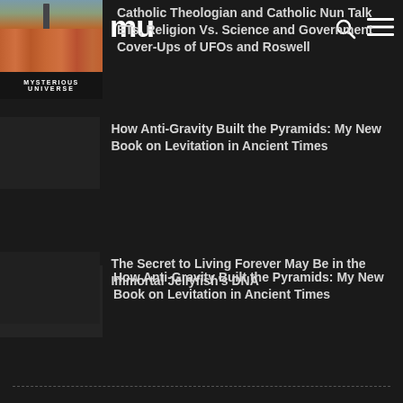Mysterious Universe
Catholic Theologian and Catholic Nun Talk ETs, Religion Vs. Science and Government Cover-Ups of UFOs and Roswell
How Anti-Gravity Built the Pyramids: My New Book on Levitation in Ancient Times
The Secret to Living Forever May Be in the Immortal Jellyfish's DNA